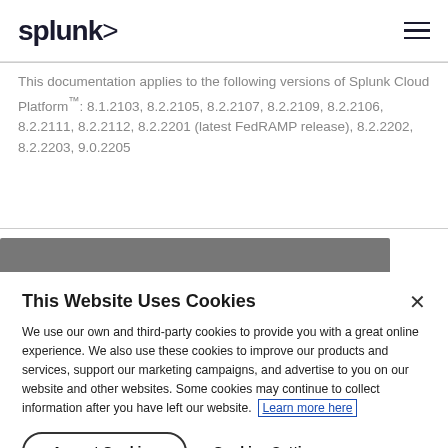splunk>
This documentation applies to the following versions of Splunk Cloud Platform®: 8.1.2103, 8.2.2105, 8.2.2107, 8.2.2109, 8.2.2106, 8.2.2111, 8.2.2112, 8.2.2201 (latest FedRAMP release), 8.2.2202, 8.2.2203, 9.0.2205
[Figure (screenshot): Gray header bar from the underlying Splunk documentation website, partially visible behind cookie consent dialog]
This Website Uses Cookies
We use our own and third-party cookies to provide you with a great online experience. We also use these cookies to improve our products and services, support our marketing campaigns, and advertise to you on our website and other websites. Some cookies may continue to collect information after you have left our website. Learn more here
Accept Cookies   Cookies Settings ›